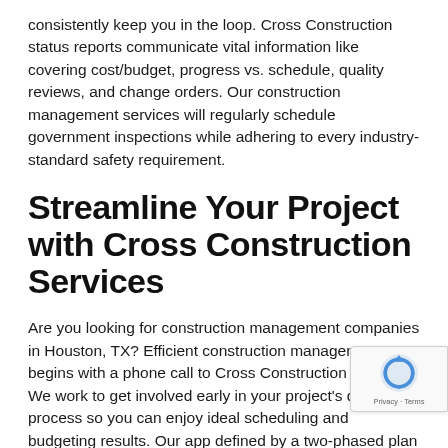consistently keep you in the loop. Cross Construction status reports communicate vital information like covering cost/budget, progress vs. schedule, quality reviews, and change orders. Our construction management services will regularly schedule government inspections while adhering to every industry-standard safety requirement.
Streamline Your Project with Cross Construction Services
Are you looking for construction management companies in Houston, TX? Efficient construction management begins with a phone call to Cross Construction Services. We work to get involved early in your project's design process so you can enjoy ideal scheduling and budgeting results. Our app defined by a two-phased plan that translates to high of project efficiency and organization.